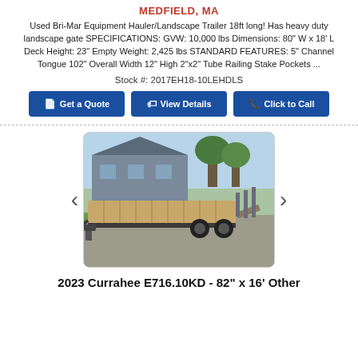MEDFIELD, MA
Used Bri-Mar Equipment Hauler/Landscape Trailer 18ft long! Has heavy duty landscape gate SPECIFICATIONS: GVW: 10,000 lbs Dimensions: 80" W x 18' L Deck Height: 23" Empty Weight: 2,425 lbs STANDARD FEATURES: 5" Channel Tongue 102" Overall Width 12" High 2"x2" Tube Railing Stake Pockets ...
Stock #: 2017EH18-10LEHDLS
[Figure (screenshot): Three buttons: 'Get a Quote', 'View Details', 'Click to Call' in dark blue]
[Figure (photo): Photo of a used flatbed/equipment hauler trailer parked on gravel, with a house in background, showing wooden deck and dual axles]
2023 Currahee E716.10KD - 82" x 16' Other